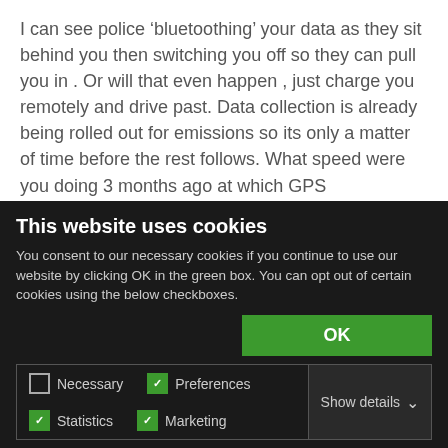I can see police ‘bluetoothing’ your data as they sit behind you then switching you off so they can pull you in . Or will that even happen , just charge you remotely and drive past. Data collection is already being rolled out for emissions so its only a matter of time before the rest follows. What speed were you doing 3 months ago at which GPS coordinates. No thanks , I’ll be hanging on to my old car and pre ECU bike as long as possible.
+ 16 — ➞ Reply
This website uses cookies
You consent to our necessary cookies if you continue to use our website by clicking OK in the green box. You can opt out of certain cookies using the below checkboxes.
OK
Necessary  Preferences  Statistics  Marketing  Show details